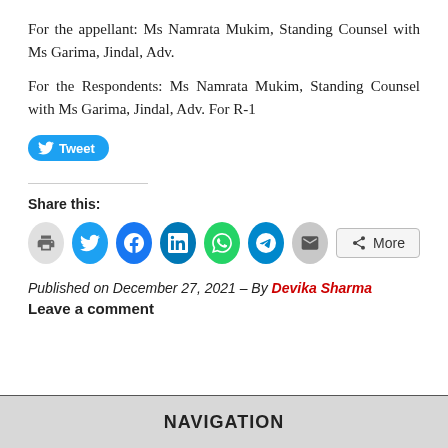For the appellant: Ms Namrata Mukim, Standing Counsel with Ms Garima, Jindal, Adv.
For the Respondents: Ms Namrata Mukim, Standing Counsel with Ms Garima, Jindal, Adv. For R-1
[Figure (other): Twitter Tweet button (blue rounded pill button with bird icon and 'Tweet' label)]
Share this:
[Figure (other): Share buttons row: print (gray circle), Twitter (blue circle), Facebook (blue circle), LinkedIn (dark blue circle), WhatsApp (green circle), Telegram (blue circle), Email (gray circle), More button]
Published on December 27, 2021 – By Devika Sharma
Leave a comment
NAVIGATION